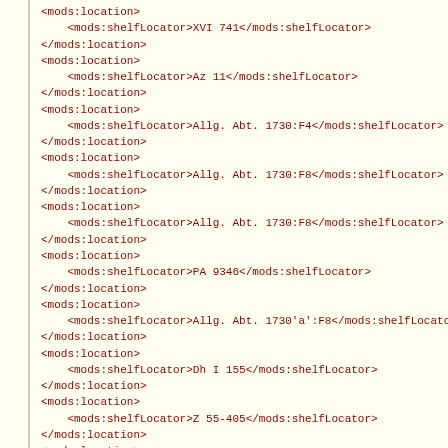XML code showing mods:location and mods:shelfLocator elements with values: XVI 741, Az 11, Allg. Abt. 1730:F4, Allg. Abt. 1730:F8, Allg. Abt. 1730:F8, PA 9346, Allg. Abt. 1730'a':F8, Dh I 155, Z 55-405, ZA 1160, Z 264, Zs II 15, 38 ZB 800, X 14724, 7 G 52